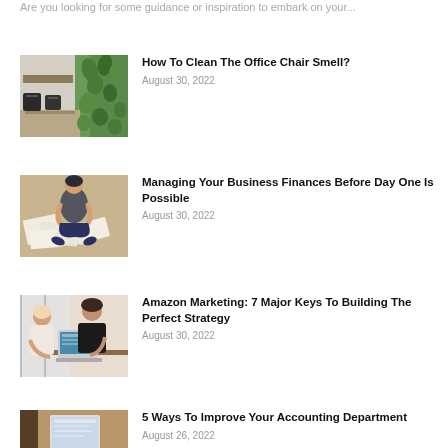Are you looking for some guidance or inspiration to embark on your...
[Figure (photo): Office interior with chairs and green plant wall]
How To Clean The Office Chair Smell?
August 30, 2022
[Figure (photo): Person sitting on floor surrounded by papers]
Managing Your Business Finances Before Day One Is Possible
August 30, 2022
[Figure (photo): Two women working at a laptop]
Amazon Marketing: 7 Major Keys To Building The Perfect Strategy
August 30, 2022
[Figure (photo): Person using laptop at desk]
5 Ways To Improve Your Accounting Department
August 26, 2022